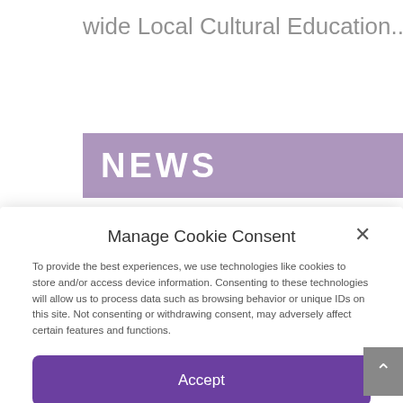wide Local Cultural Education...
[Figure (screenshot): Purple NEWS banner partially visible behind modal]
Manage Cookie Consent
To provide the best experiences, we use technologies like cookies to store and/or access device information. Consenting to these technologies will allow us to process data such as browsing behavior or unique IDs on this site. Not consenting or withdrawing consent, may adversely affect certain features and functions.
Accept
Deny
View preferences
Cookie Policy